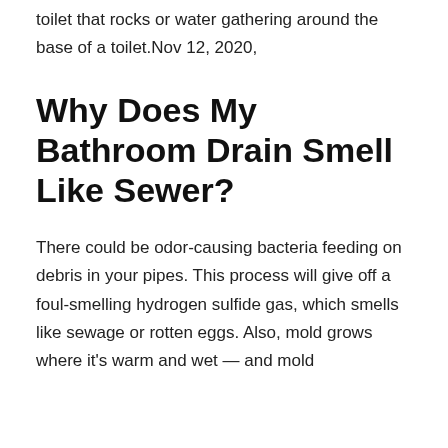toilet that rocks or water gathering around the base of a toilet.Nov 12, 2020,
Why Does My Bathroom Drain Smell Like Sewer?
There could be odor-causing bacteria feeding on debris in your pipes. This process will give off a foul-smelling hydrogen sulfide gas, which smells like sewage or rotten eggs. Also, mold grows where it's warm and wet — and mold